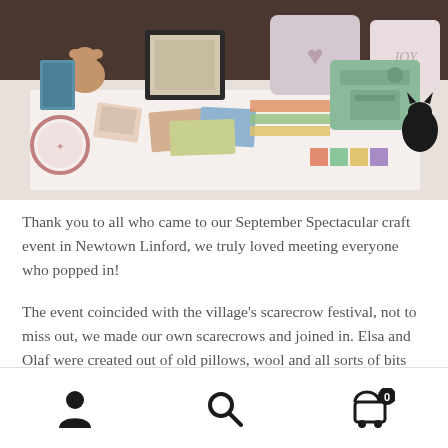[Figure (photo): Photo of a craft fair display table covered with handmade items including pillows, framed artwork, books, and a sewing machine. Items include cushions with letters and hearts, colorful fabrics, and craft supplies spread across a white tablecloth.]
Thank you to all who came to our September Spectacular craft event in Newtown Linford, we truly loved meeting everyone who popped in!
The event coincided with the village's scarecrow festival, not to miss out, we made our own scarecrows and joined in. Elsa and Olaf were created out of old pillows, wool and all sorts of bits and bobs we could grab our hands on. They were a hit with the crowds, with many people queuing up
Navigation bar with user, search, and cart icons